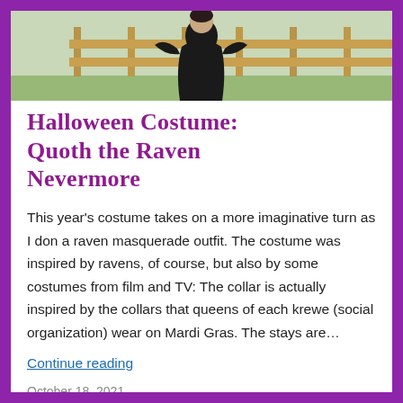[Figure (photo): A person in a black raven costume/dress standing outdoors in a yard with a wooden fence in the background.]
Halloween Costume: Quoth the Raven Nevermore
This year's costume takes on a more imaginative turn as I don a raven masquerade outfit. The costume was inspired by ravens, of course, but also by some costumes from film and TV: The collar is actually inspired by the collars that queens of each krewe (social organization) wear on Mardi Gras. The stays are…
Continue reading
October 18, 2021